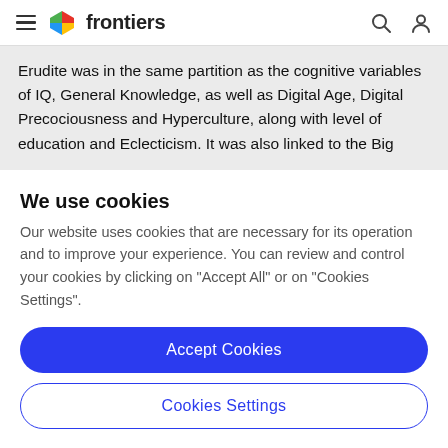frontiers
Erudite was in the same partition as the cognitive variables of IQ, General Knowledge, as well as Digital Age, Digital Precociousness and Hyperculture, along with level of education and Eclecticism. It was also linked to the Big
We use cookies
Our website uses cookies that are necessary for its operation and to improve your experience. You can review and control your cookies by clicking on "Accept All" or on "Cookies Settings".
Accept Cookies
Cookies Settings